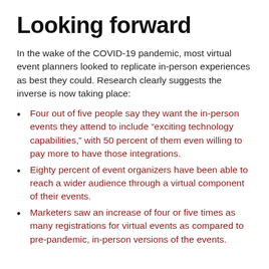Looking forward
In the wake of the COVID-19 pandemic, most virtual event planners looked to replicate in-person experiences as best they could. Research clearly suggests the inverse is now taking place:
Four out of five people say they want the in-person events they attend to include “exciting technology capabilities,” with 50 percent of them even willing to pay more to have those integrations.
Eighty percent of event organizers have been able to reach a wider audience through a virtual component of their events.
Marketers saw an increase of four or five times as many registrations for virtual events as compared to pre-pandemic, in-person versions of the events.